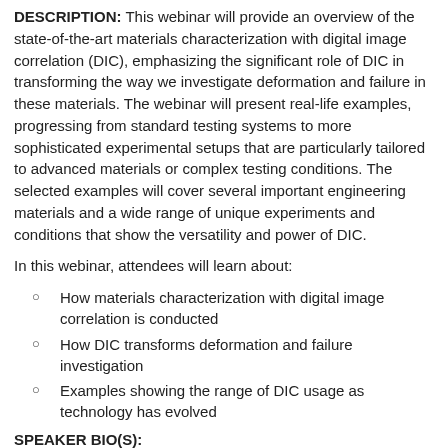DESCRIPTION: This webinar will provide an overview of the state-of-the-art materials characterization with digital image correlation (DIC), emphasizing the significant role of DIC in transforming the way we investigate deformation and failure in these materials. The webinar will present real-life examples, progressing from standard testing systems to more sophisticated experimental setups that are particularly tailored to advanced materials or complex testing conditions. The selected examples will cover several important engineering materials and a wide range of unique experiments and conditions that show the versatility and power of DIC.
In this webinar, attendees will learn about:
How materials characterization with digital image correlation is conducted
How DIC transforms deformation and failure investigation
Examples showing the range of DIC usage as technology has evolved
SPEAKER BIO(S):